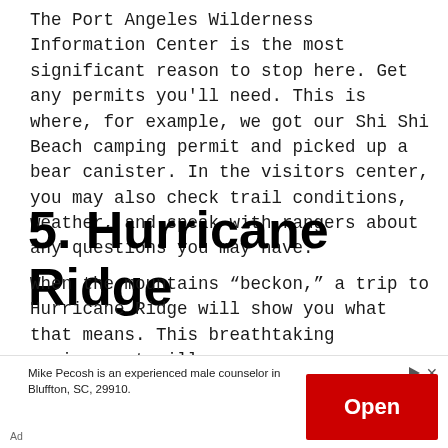The Port Angeles Wilderness Information Center is the most significant reason to stop here. Get any permits you'll need. This is where, for example, we got our Shi Shi Beach camping permit and picked up a bear canister. In the visitors center, you may also check trail conditions, weather, and speak with rangers about any questions you may have.
5. Hurricane Ridge
When the mountains “beckon,” a trip to Hurricane Ridge will show you what that means. This breathtaking environment will
Mike Pecosh is an experienced male counselor in Bluffton, SC, 29910.